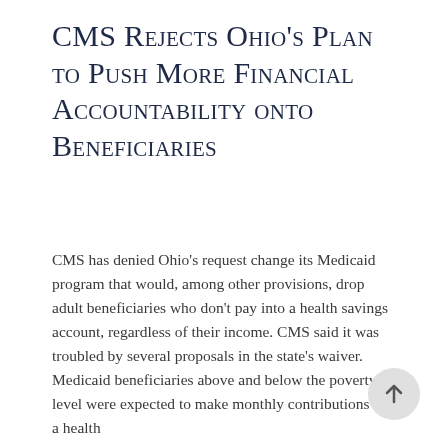CMS Rejects Ohio's Plan to Push More Financial Accountability onto Beneficiaries
CMS has denied Ohio's request change its Medicaid program that would, among other provisions, drop adult beneficiaries who don't pay into a health savings account, regardless of their income. CMS said it was troubled by several proposals in the state's waiver. Medicaid beneficiaries above and below the poverty level were expected to make monthly contributions to a health